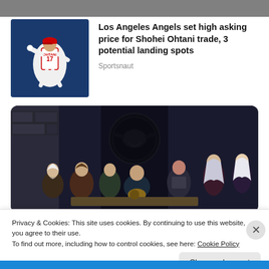[Figure (photo): Partial top image strip, partially cropped]
[Figure (photo): Baseball player Shohei Ohtani wearing Angels jersey number 17, pitching]
Los Angeles Angels set high asking price for Shohei Ohtani trade, 3 potential landing spots
Sportsnaut
[Figure (photo): Scene from House of the Dragon / Game of Thrones style show, group of characters seated under a Targaryen dragon sigil]
Privacy & Cookies: This site uses cookies. By continuing to use this website, you agree to their use.
To find out more, including how to control cookies, see here: Cookie Policy